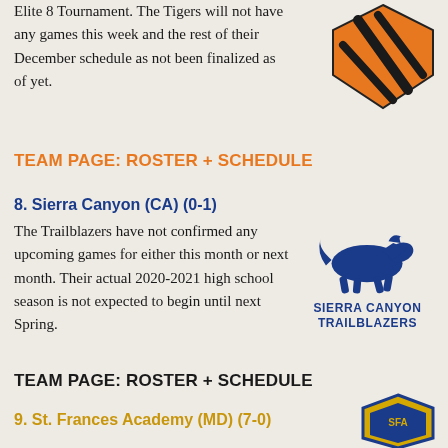Elite 8 Tournament. The Tigers will not have any games this week and the rest of their December schedule as not been finalized as of yet.
[Figure (logo): Orange and black shield/tiger logo]
TEAM PAGE: ROSTER + SCHEDULE
8. Sierra Canyon (CA) (0-1)
The Trailblazers have not confirmed any upcoming games for either this month or next month. Their actual 2020-2021 high school season is not expected to begin until next Spring.
[Figure (logo): Blue running horse logo with SIERRA CANYON TRAILBLAZERS text]
TEAM PAGE: ROSTER + SCHEDULE
9. St. Frances Academy (MD) (7-0)
[Figure (logo): Gold and blue shield logo, partially visible]